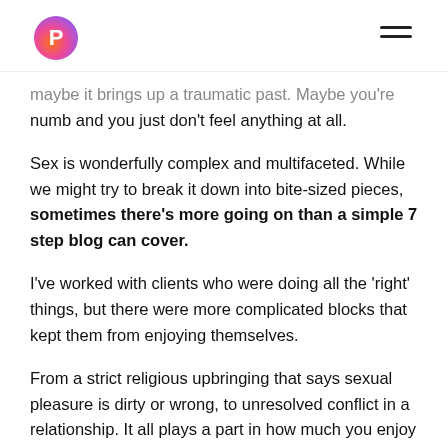[Logo and navigation menu]
maybe it brings up a traumatic past. Maybe you're numb and you just don't feel anything at all.
Sex is wonderfully complex and multifaceted. While we might try to break it down into bite-sized pieces, sometimes there's more going on than a simple 7 step blog can cover.
I've worked with clients who were doing all the 'right' things, but there were more complicated blocks that kept them from enjoying themselves.
From a strict religious upbringing that says sexual pleasure is dirty or wrong, to unresolved conflict in a relationship. It all plays a part in how much you enjoy sex.
But that's OK too. 'Cause there's lots of people who can